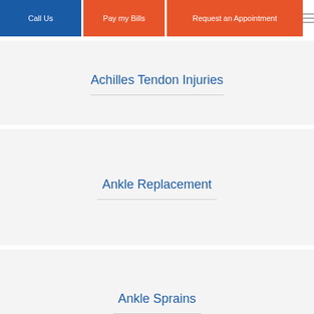Call Us | Pay my Bills | Request an Appointment
Achilles Tendon Injuries
Ankle Replacement
Ankle Sprains